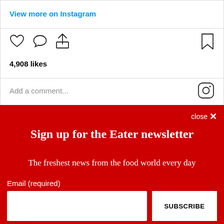View more on Instagram
[Figure (screenshot): Instagram post action icons: heart (like), comment bubble, share arrow on left; bookmark icon on right]
4,908 likes
Add a comment...
close ×
Sign up for the Eater newsletter
The freshest news from the food world every day
Email (required)
SUBSCRIBE
By submitting your email, you agree to our Terms and Privacy Notice. You can opt out at any time. This site is protected by reCAPTCHA and the Google Privacy Policy and Terms of Service apply.